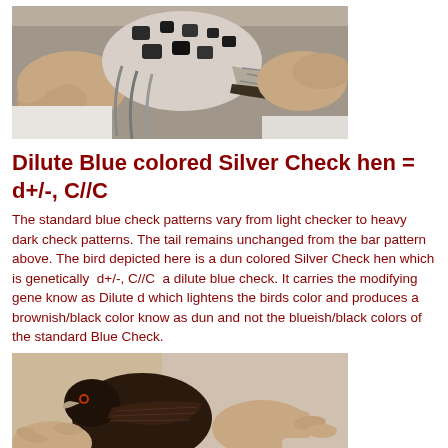[Figure (photo): Hands holding a pigeon with spotted black and white feathers, showing wing and tail feathers]
Dilute Blue colored Silver Check hen = d+/-, C//C
The standard blue check patterns vary from light checker to heavy dark check patterns. The tail remains unchanged from the bar pattern above. The bird depicted here is a dun colored Silver Check hen which is genetically  d+/-, C//C  a dilute blue check. It carries the modifying gene know as Dilute d which lightens the birds color and produces a brownish/black color know as dun and not the blueish/black colors of the standard Blue Check.
[Figure (photo): Hands holding a dark brownish-black pigeon, showing the dun coloration characteristic of dilute blue check]